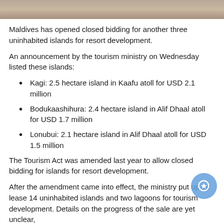[Figure (photo): Aerial or close-up photo of sandy/rocky terrain, likely a Maldives island]
Maldives has opened closed bidding for another three uninhabited islands for resort development.
An announcement by the tourism ministry on Wednesday listed these islands:
Kagi: 2.5 hectare island in Kaafu atoll for USD 2.1 million
Bodukaashihura: 2.4 hectare island in Alif Dhaal atoll for USD 1.7 million
Lonubui: 2.1 hectare island in Alif Dhaal atoll for USD 1.5 million
The Tourism Act was amended last year to allow closed bidding for islands for resort development.
After the amendment came into effect, the ministry put up for lease 14 uninhabited islands and two lagoons for tourism development. Details on the progress of the sale are yet unclear,